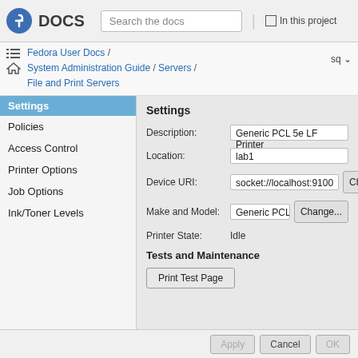[Figure (screenshot): Fedora DOCS logo with circular blue icon containing the Fedora symbol, followed by 'DOCS' text in dark gray]
Search the docs
In this project
Fedora User Docs / System Administration Guide / Servers / File and Print Servers
sq
Settings
Policies
Access Control
Printer Options
Job Options
Ink/Toner Levels
Description: Generic PCL 5e LF Printer
Location: lab1
Device URI: socket://localhost:9100  Change...
Make and Model: Generic PCL 5e Printer -...  Change...
Printer State: Idle
Tests and Maintenance
Print Test Page
Apply  Cancel  OK